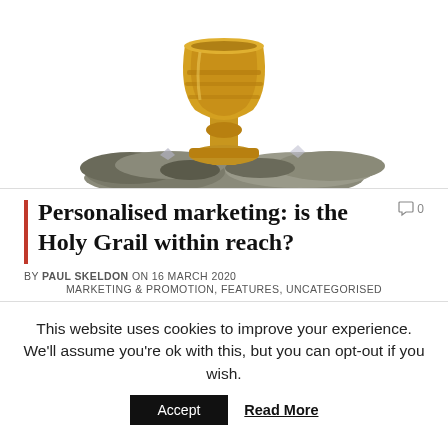[Figure (photo): Gold/brass chalice cup sitting on dark mineral rocks against a white background]
Personalised marketing: is the Holy Grail within reach?
BY PAUL SKELDON ON 16 MARCH 2020
MARKETING & PROMOTION, FEATURES, UNCATEGORISED
This website uses cookies to improve your experience. We'll assume you're ok with this, but you can opt-out if you wish.
Accept   Read More